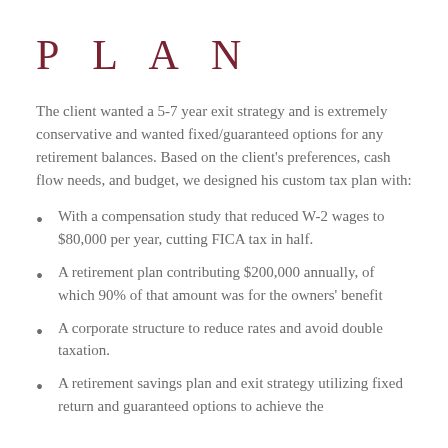PLAN
The client wanted a 5-7 year exit strategy and is extremely conservative and wanted fixed/guaranteed options for any retirement balances. Based on the client's preferences, cash flow needs, and budget, we designed his custom tax plan with:
With a compensation study that reduced W-2 wages to $80,000 per year, cutting FICA tax in half.
A retirement plan contributing $200,000 annually, of which 90% of that amount was for the owners' benefit
A corporate structure to reduce rates and avoid double taxation.
A retirement savings plan and exit strategy utilizing fixed return and guaranteed options to achieve the